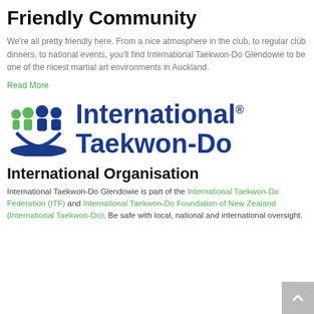Friendly Community
We're all pretty friendly here. From a nice atmosphere in the club, to regular club dinners, to national events, you'll find International Taekwon-Do Glendowie to be one of the nicest martial art environments in Auckland.
Read More
[Figure (logo): International Taekwon-Do logo: group of people icons in blue and green on the left, bold blue text 'International® Taekwon-Do' on the right]
International Organisation
International Taekwon-Do Glendowie is part of the International Taekwon-Do Federation (ITF) and International Taekwon-Do Foundation of New Zealand (International Taekwon-Do). Be safe with local, national and international oversight.